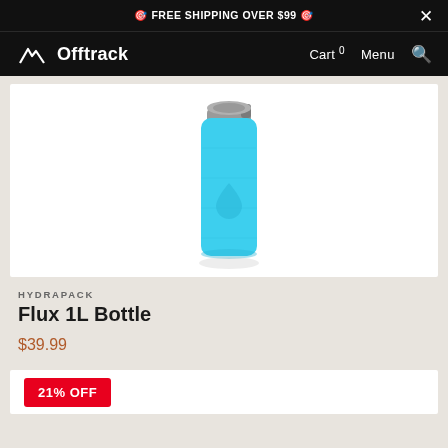🎯 FREE SHIPPING OVER $99 🎯
Offtrack — Cart 0  Menu
[Figure (photo): A bright cyan/blue Hydrapack Flux 1L soft flask water bottle with a silver screw cap and bite valve, standing upright on a white background.]
HYDRAPACK
Flux 1L Bottle
$39.99
21% OFF